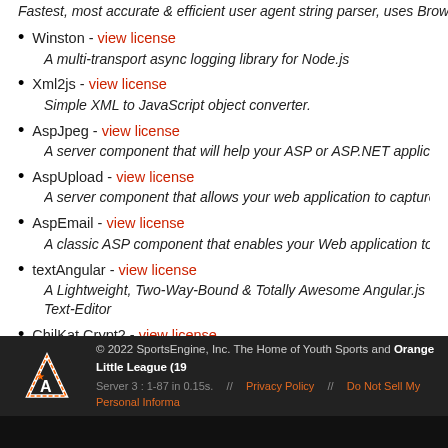Fastest, most accurate & efficient user agent string parser, uses Browserscop…
Winston - view license
A multi-transport async logging library for Node.js
Xml2js - view license
Simple XML to JavaScript object converter.
AspJpeg - view license
A server component that will help your ASP or ASP.NET applications with all th…
AspUpload - view license
A server component that allows your web application to capture files uploaded…
AspEmail - view license
A classic ASP component that enables your Web application to send email me…
textAngular - view license
A Lightweight, Two-Way-Bound & Totally Awesome Angular.js Text-Editor
ChilKat.Crypt2 - view license
Server side Com component for data encryption and hashing.
Sincere thank yous to all of the developers and contributors to the above projects.
© 2022 SportsEngine, Inc. The Home of Youth Sports and Orange Little League (19… Server 3 : 1-87 in 0.15s.  //  Privacy Policy  //  Do Not Sell My Personal Informa…